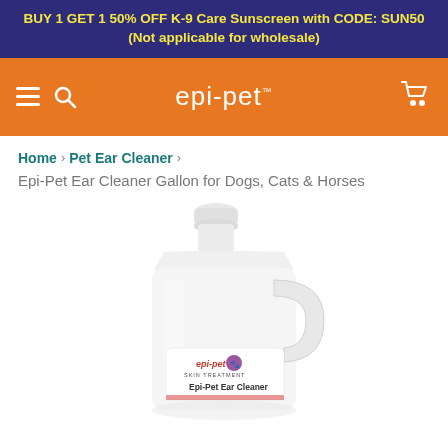BUY 1 GET 1 50% OFF K-9 Care Sunscreen with CODE: SUN50 (Not applicable for wholesale)
[Figure (screenshot): Orange navigation bar with hamburger menu icon and magnifying glass icon on the left, 'epi-pet' logo in the center (white text), and shopping cart icon on the right]
Home > Pet Ear Cleaner >
Epi-Pet Ear Cleaner Gallon for Dogs, Cats & Horses
[Figure (photo): White gallon jug/bottle product with handle, labeled 'epi-pet Skin Treatment Epi-Pet Ear Cleaner' with the epi-pet logo on the label]